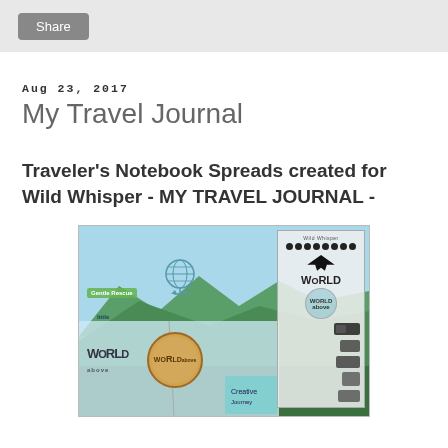Share
Aug 23, 2017
My Travel Journal
Traveler's Notebook Spreads created for Wild Whisper  - MY TRAVEL JOURNAL -
[Figure (photo): Photo of a traveler's notebook open with travel-themed stamps including a globe, airplane, and 'World' themed embellishments, along with a stamp sheet showing various travel icons.]